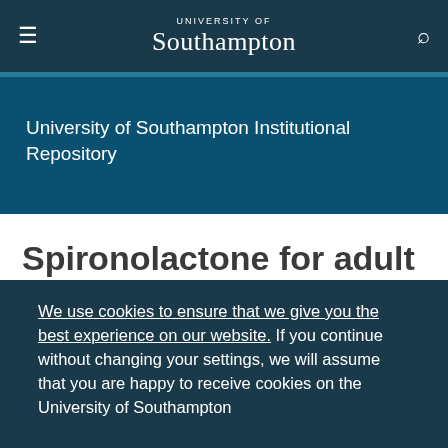University of Southampton — navigation bar with hamburger menu, logo, and search icon
University of Southampton Institutional Repository
Spironolactone for adult female acne (SAFA): protocol for a double-blind, placebo-
We use cookies to ensure that we give you the best experience on our website. If you continue without changing your settings, we will assume that you are happy to receive cookies on the University of Southampton